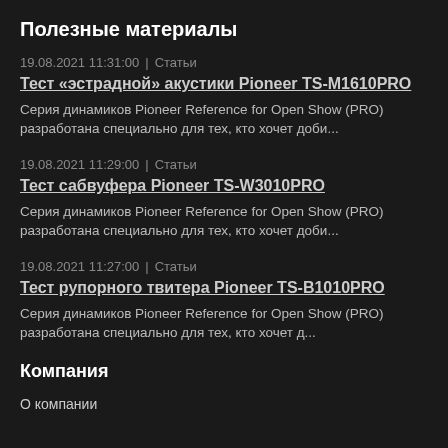Полезные материалы
19.08.2021 11:31:00  |  Статьи
Тест «эстрадной» акустики Pioneer TS-M1610PRO
Серия динамиков Pioneer Reference for Open Show (PRO) разработана специально для тех, кто хочет доби...
19.08.2021 11:29:00  |  Статьи
Тест сабвуфера Pioneer TS-W3010PRO
Серия динамиков Pioneer Reference for Open Show (PRO) разработана специально для тех, кто хочет доби...
19.08.2021 11:27:00  |  Статьи
Тест рупорного твитера Pioneer TS-B1010PRO
Серия динамиков Pioneer Reference for Open Show (PRO) разработана специально для тех, кто хочет д...
Компания
О компании